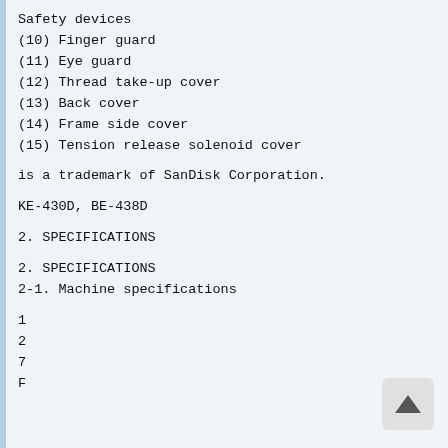Safety devices
(10) Finger guard
(11) Eye guard
(12) Thread take-up cover
(13) Back cover
(14) Frame side cover
(15) Tension release solenoid cover
is a trademark of SanDisk Corporation.
KE-430D, BE-438D
2. SPECIFICATIONS
2. SPECIFICATIONS
2-1. Machine specifications
1
2
7
F